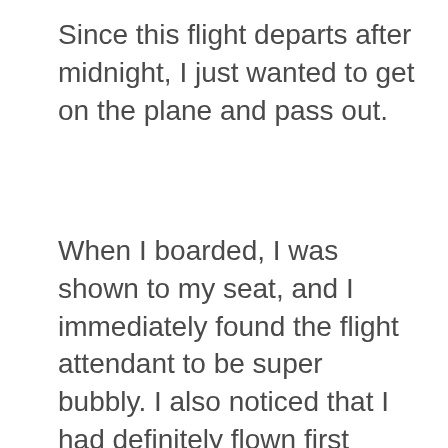Since this flight departs after midnight, I just wanted to get on the plane and pass out.
When I boarded, I was shown to my seat, and I immediately found the flight attendant to be super bubbly. I also noticed that I had definitely flown first class before with another one of the passengers, but I was pretty darn sure that he was a person flying for business and not a miles/points enthusiast (he could be both, but it seemed like he was not flying on miles either time).